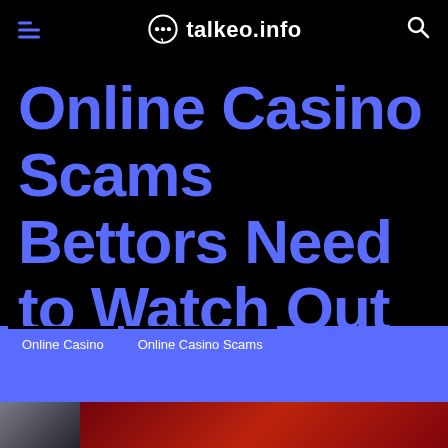talkeo.info
Online Casino Scams Bettors Need to Watch Out For
Online Casino
Online Casino Scams
[Figure (photo): Bottom image strip showing partial photos]